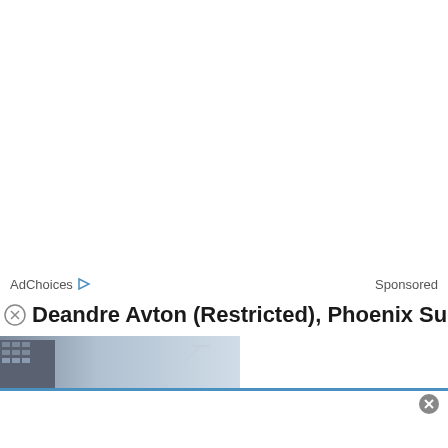AdChoices ▷   Sponsored
Deandre Avton (Restricted), Phoenix Suns
[Figure (photo): Partial advertisement image showing a city building against a light blue sky, with a close button overlay]
[Figure (other): Bottom advertisement banner area with close button]